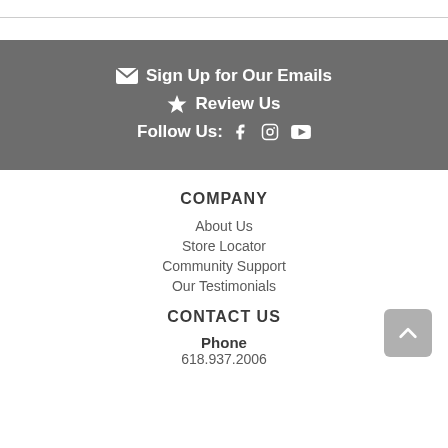✉ Sign Up for Our Emails
★ Review Us
Follow Us: [Facebook] [Instagram] [YouTube]
COMPANY
About Us
Store Locator
Community Support
Our Testimonials
CONTACT US
Phone
618.937.2006